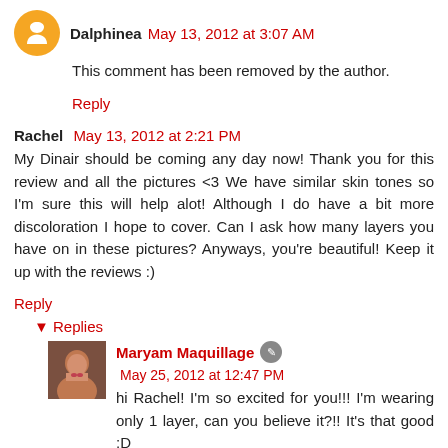Dalphinea May 13, 2012 at 3:07 AM
This comment has been removed by the author.
Reply
Rachel May 13, 2012 at 2:21 PM
My Dinair should be coming any day now! Thank you for this review and all the pictures <3 We have similar skin tones so I'm sure this will help alot! Although I do have a bit more discoloration I hope to cover. Can I ask how many layers you have on in these pictures? Anyways, you're beautiful! Keep it up with the reviews :)
Reply
Replies
Maryam Maquillage May 25, 2012 at 12:47 PM
hi Rachel! I'm so excited for you!!! I'm wearing only 1 layer, can you believe it?!! It's that good :D